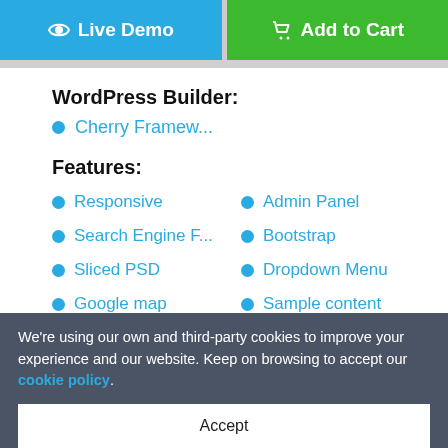Live Demo
Add to Cart
WordPress Builder:
Cherry Framew...
Features:
Responsive
Admin Panel
Search Engine F...
Bootstrap
Sliced PSD
Dropdown Menu
Google map
Sample content
We're using our own and third-party cookies to improve your experience and our website. Keep on browsing to accept our cookie policy.
Accept